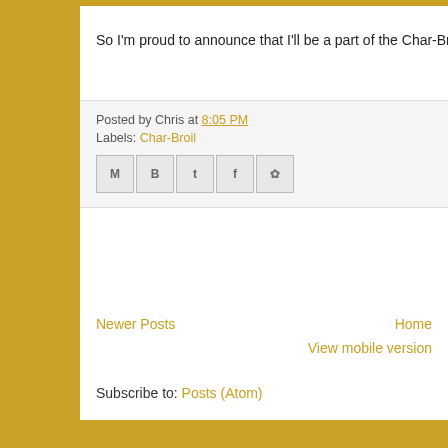So I'm proud to announce that I'll be a part of the Char-Broil Al…
Posted by Chris at 8:05 PM
Labels: Char-Broil
[Figure (other): Social share buttons: Email, BlogThis, Twitter, Facebook, Pinterest]
Newer Posts
Home
View mobile version
Subscribe to: Posts (Atom)
Theme images by ma…